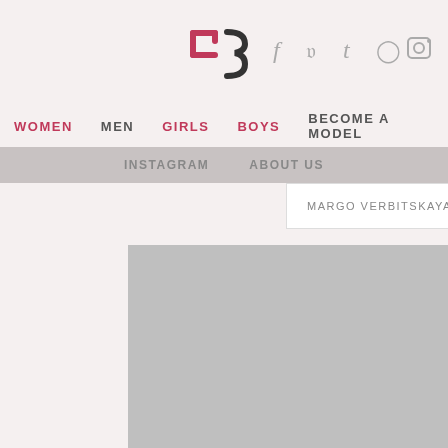[Figure (logo): Agency logo with stylized letters FB/3B in pink and dark]
[Figure (illustration): Social media icons: f (Facebook), bird (Twitter), t (Tumblr), pin (Pinterest), camera (Instagram) in gray]
WOMEN  MEN  GIRLS  BOYS  BECOME A MODEL
INSTAGRAM  ABOUT US
MARGO VERBITSKAYA
[Figure (photo): Gray placeholder image area for model photo]